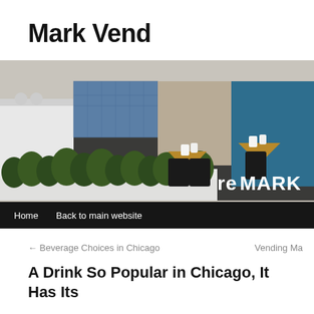Mark Vend
[Figure (photo): Interior photo of a modern office break room or cafe area with green plants in a white planter, dark chairs, triangular wooden tables, beverages on tables, blue wall panels, and a 'reMARK' logo/sign visible on the right side. Navigation bar at bottom with 'Home' and 'Back to main website' links.]
← Beverage Choices in Chicago
Vending Ma
A Drink So Popular in Chicago, It Has Its